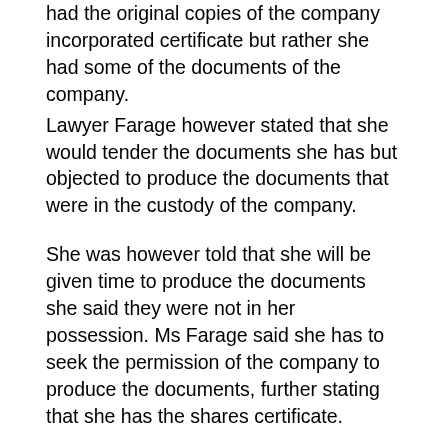had the original copies of the company incorporated certificate but rather she had some of the documents of the company.
Lawyer Farage however stated that she would tender the documents she has but objected to produce the documents that were in the custody of the company.
She was however told that she will be given time to produce the documents she said they were not in her possession. Ms Farage said she has to seek the permission of the company to produce the documents, further stating that she has the shares certificate.
She added that the shareholders were Amadou Samba, Mr. Bazzi, Mr. Mazegi, GPA, GNPC and SSHFC. She said Gam Petroleum is an offshore company which used to have shares in the Gambian company. According to her she was